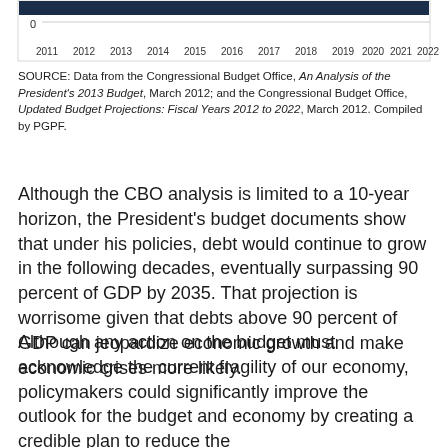[Figure (bar-chart): Bottom portion of a bar chart showing years 2011–2022 on the x-axis with a 0 gridline visible and a dark navy bar near the top]
SOURCE: Data from the Congressional Budget Office, An Analysis of the President's 2013 Budget, March 2012; and the Congressional Budget Office, Updated Budget Projections: Fiscal Years 2012 to 2022, March 2012. Compiled by PGPF.
Although the CBO analysis is limited to a 10-year horizon, the President's budget documents show that under his policies, debt would continue to grow in the following decades, eventually surpassing 90 percent of GDP by 2035. That projection is worrisome given that debts above 90 percent of GDP can jeopardize economic growth and make economic crises more likely.
Although any action on the budget must acknowledge the current fragility of our economy, policymakers could significantly improve the outlook for the budget and economy by creating a credible plan to reduce the